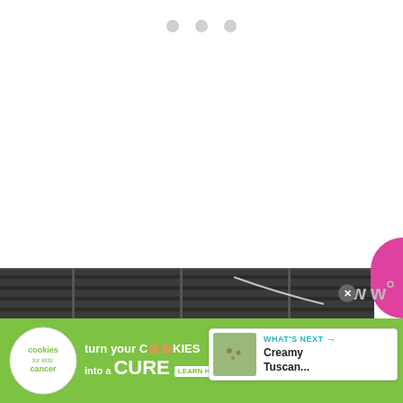[Figure (screenshot): Website screenshot showing navigation dots at top, floating heart/share action buttons on right side, a 'What's Next' card showing 'Creamy Tuscan...' recipe, a dark photo strip at the bottom, and a green advertisement banner for 'cookies for kids cancer' with text 'turn your COOKIES into a CURE LEARN HOW']
WHAT'S NEXT → Creamy Tuscan...
4K
turn your COOKIES into a CURE LEARN HOW
cookies for kids cancer